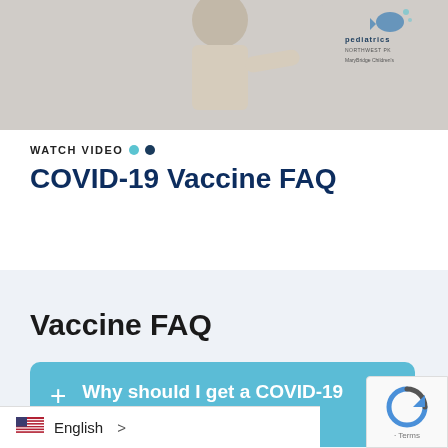[Figure (photo): Child in beige sweater pointing, with Pediatrics Northwest / Mary Bridge Children's logo in upper right corner]
WATCH VIDEO
COVID-19 Vaccine FAQ
Vaccine FAQ
+ Why should I get a COVID-19 vaccine?